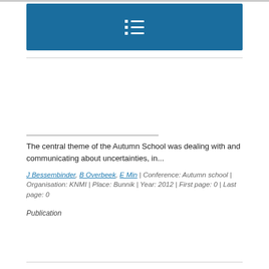[Figure (other): Blue navigation bar with a list/menu icon (three dot-line rows) centered on it]
The central theme of the Autumn School was dealing with and communicating about uncertainties, in...
J Bessembinder, B Overbeek, E Min | Conference: Autumn school | Organisation: KNMI | Place: Bunnik | Year: 2012 | First page: 0 | Last page: 0
Publication